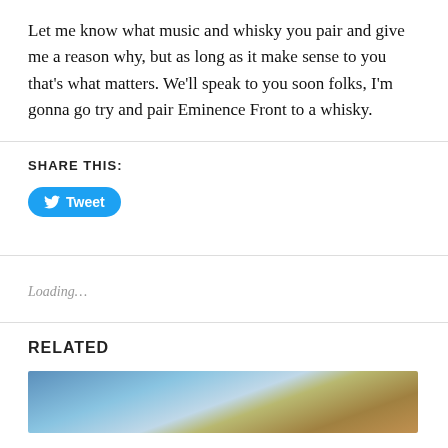Let me know what music and whisky you pair and give me a reason why, but as long as it make sense to you that's what matters. We'll speak to you soon folks, I'm gonna go try and pair Eminence Front to a whisky.
SHARE THIS:
[Figure (other): Twitter Tweet button — blue rounded pill button with bird icon and 'Tweet' text]
Loading...
RELATED
[Figure (photo): Partial landscape photo showing blue sky and brown terrain at the bottom of the page]